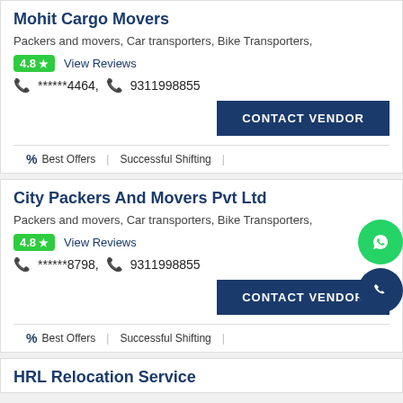Mohit Cargo Movers
Packers and movers, Car transporters, Bike Transporters,
4.8 ★  View Reviews
📞 ******4464,  📞 9311998855
CONTACT VENDOR
% Best Offers  |  Successful Shifting
City Packers And Movers Pvt Ltd
Packers and movers, Car transporters, Bike Transporters,
4.8 ★  View Reviews
📞 ******8798,  📞 9311998855
CONTACT VENDOR
% Best Offers  |  Successful Shifting
HRL Relocation Service